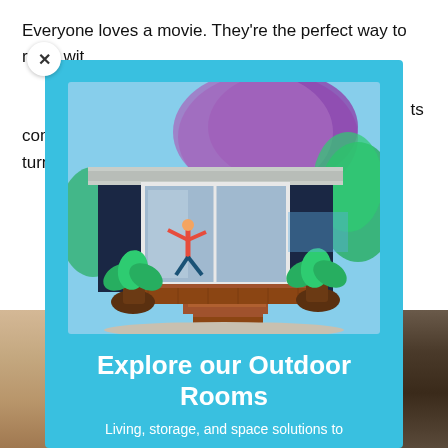Everyone loves a movie. They're the perfect way to relax with your loved ones. So why not bring some of that movie magic home? The good news is you can create the perfect home theatre experience. It's not as complicated as you might think and turning your space into a cinema-worthy experience is easier than ever. But if you want the full movie experience, you'll need the right equipment. You can shop all the weekends...
[Figure (photo): Modal dialog with sky blue background showing a modern outdoor room/studio with dark navy cladding, large sliding glass doors, wooden deck steps, potted plants, and a person doing yoga inside. A jacaranda tree with purple blooms is visible above the structure.]
Explore our Outdoor Rooms
Living, storage, and space solutions to